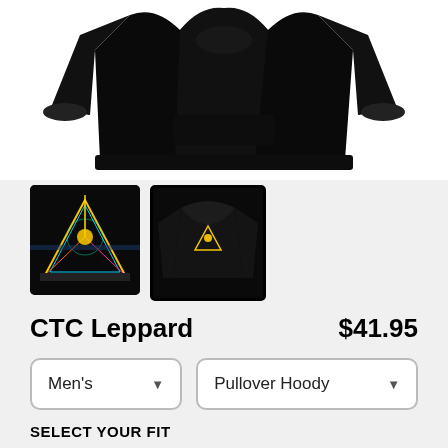[Figure (photo): Product photo of a black pullover hoodie shown from front and back on a white background]
[Figure (photo): Thumbnail 1: black square with colorful psychedelic graphic design]
[Figure (photo): Thumbnail 2: black hoodie with back graphic, selected (active border)]
CTC Leppard
$41.95
Men's
Pullover Hoody
SELECT YOUR FIT
$41.95
French Terry
$50.45
Sponge Fleece